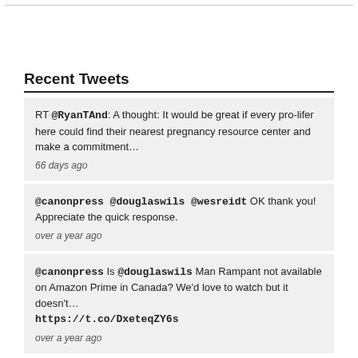Recent Tweets
RT @RyanTAnd: A thought: It would be great if every pro-lifer here could find their nearest pregnancy resource center and make a commitment…
66 days ago
@canonpress @douglaswils @wesreidt OK thank you! Appreciate the quick response.
over a year ago
@canonpress Is @douglaswils Man Rampant not available on Amazon Prime in Canada? We'd love to watch but it doesn't… https://t.co/DxeteqZY6s
over a year ago